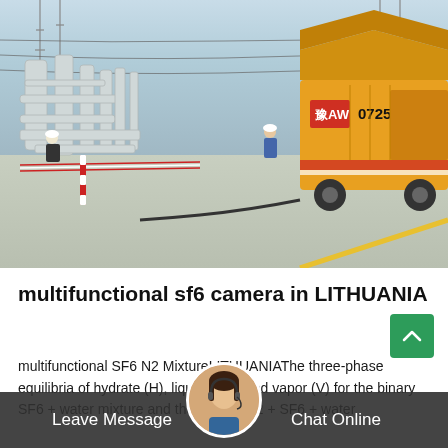[Figure (photo): Outdoor electrical substation with large white pipe structures and transformers on the left, workers in safety gear visible, and a large yellow specialized vehicle/truck with marking '豫AW 0725' parked on the right, with overhead power line towers in the background. Concrete ground and red-white barrier tape visible.]
multifunctional sf6 camera in LITHUANIA
multifunctional SF6 N2 MixtureLITHUANIAThe three-phase equilibria of hydrate (H), liquid (LW), and vapor (V) for the binary SF6 + water mixture and the ternary N2 + SF6 + water